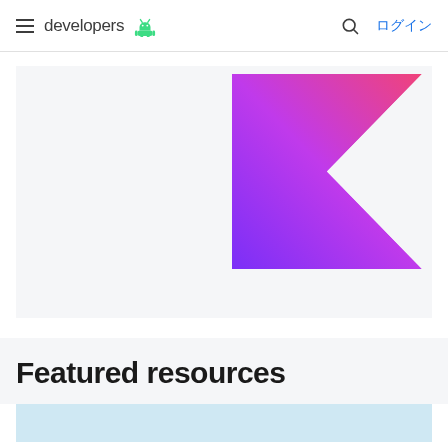developers ログイン
[Figure (logo): Kotlin logo — a stylized arrow/K shape with gradient from purple-violet at bottom-left to magenta-pink at top-right]
Featured resources
[Figure (other): Partial light blue card at bottom of page]